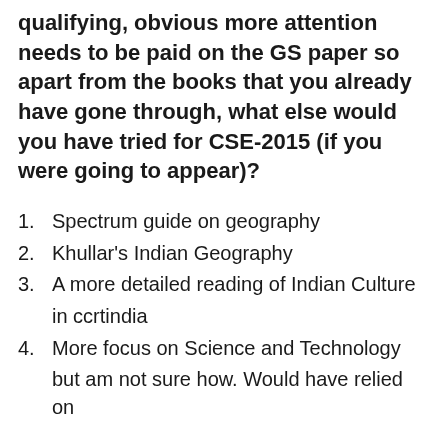qualifying, obvious more attention needs to be paid on the GS paper so apart from the books that you already have gone through, what else would you have tried for CSE-2015 (if you were going to appear)?
Spectrum guide on geography
Khullar's Indian Geography
A more detailed reading of Indian Culture in ccrtindia
More focus on Science and Technology but am not sure how. Would have relied on